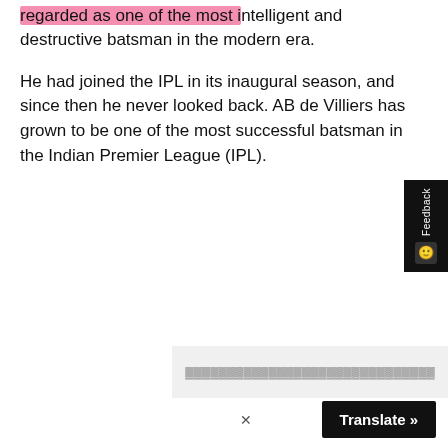regarded as one of the most intelligent and destructive batsman in the modern era.
He had joined the IPL in its inaugural season, and since then he never looked back. AB de Villiers has grown to be one of the most successful batsman in the Indian Premier League (IPL).
[Figure (other): Feedback tab on the right side of the page with a smiley face icon]
[Figure (other): Advertisement block with blurred/obscured content]
Translate »